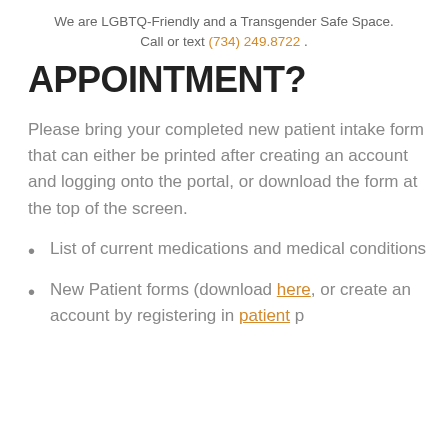We are LGBTQ-Friendly and a Transgender Safe Space. Call or text (734) 249.8722 .
APPOINTMENT?
Please bring your completed new patient intake form that can either be printed after creating an account and logging onto the portal, or download the form at the top of the screen.
List of current medications and medical conditions
New Patient forms (download here, or create an account by registering in patient p